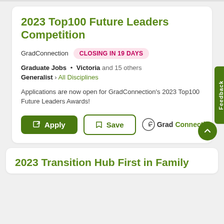2023 Top100 Future Leaders Competition
GradConnection   CLOSING IN 19 DAYS
Graduate Jobs  •  Victoria and 15 others  Generalist › All Disciplines
Applications are now open for GradConnection's 2023 Top100 Future Leaders Awards!
[Figure (logo): GradConnection logo with stylized G icon and brand name]
2023 Transition Hub First in Family